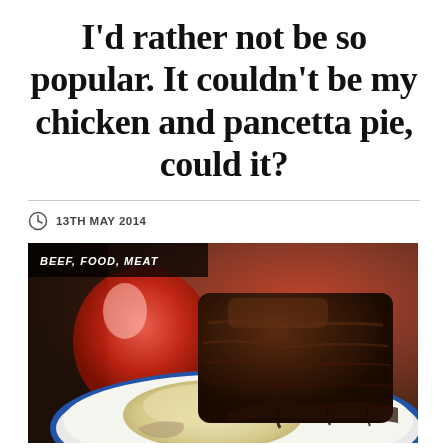I'd rather not be so popular. It couldn't be my chicken and pancetta pie, could it?
13TH MAY 2014
[Figure (photo): Close-up food photograph of braised or slow-cooked meat (short ribs or similar) served on a white plate with blue rim, with mashed potato, garnished with gravy/sauce. A red vessel is visible in the background. Tags read: BEEF, FOOD, MEAT.]